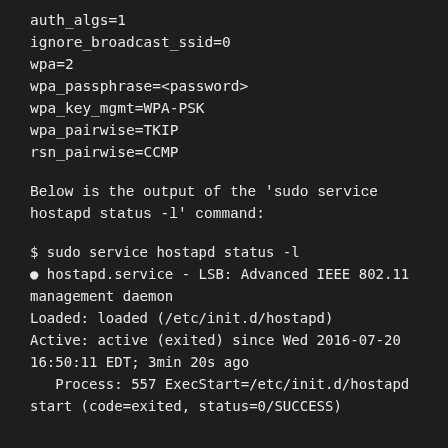auth_algs=1
ignore_broadcast_ssid=0
wpa=2
wpa_passphrase=<password>
wpa_key_mgmt=WPA-PSK
wpa_pairwise=TKIP
rsn_pairwise=CCMP
Below is the output of the 'sudo service hostapd status -l' command:
$ sudo service hostapd status -l
● hostapd.service - LSB: Advanced IEEE 802.11 management daemon
   Loaded: loaded (/etc/init.d/hostapd)
   Active: active (exited) since Wed 2016-07-20 16:50:11 EDT; 3min 20s ago
   Process: 557 ExecStart=/etc/init.d/hostapd start (code=exited, status=0/SUCCESS)